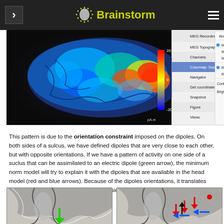Brainstorm
[Figure (screenshot): Brainstorm application screenshot showing a colored brain surface map with a context menu open (MEG Recordings, MEG Topography, Channels, Colormap: Sources, Navigator, Get coordinates, Snapshot, Figure, Views) and a colormap settings panel on the right (Absolute values, Maximum: Global, Maximum: Local, Maximum: Custom, Range: [-max,max], Range: [min,max], Contrast: 0, Brightness: -0)]
This pattern is due to the orientation constraint imposed on the dipoles. On both sides of a sulcus, we have defined dipoles that are very close to each other, but with opposite orientations. If we have a pattern of activity on one side of a suclus that can be assimilated to an electric dipole (green arrow), the minimum norm model will try to explain it with the dipoles that are available in the head model (red and blue arrows). Because of the dipoles orientations, it translates into positive values (red arrows) on one side of the sulcus and negative on the other side (blue arrows).
[Figure (illustration): Left: grayscale cross-section of a sulcus with a green downward arrow indicating an electric dipole direction. Right: same sulcus cross-section with multiple red and blue arrows showing the orientation of dipoles in the head model on both sides of the sulcus.]